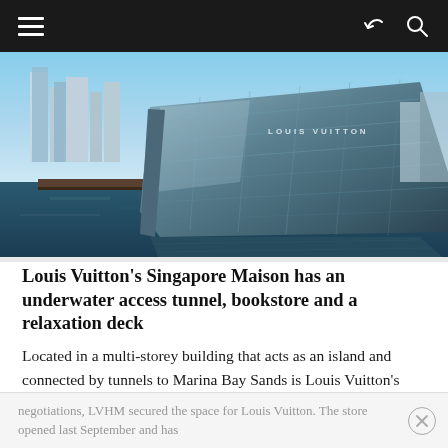Navigation bar with hamburger menu, share icon, and search icon
[Figure (photo): Exterior photo of Louis Vuitton Singapore Maison — a dramatic angular glass building sitting on water, with city skyscrapers visible in the background. The building has 'LOUIS VUITTON' signage on its glass facade.]
Louis Vuitton's Singapore Maison has an underwater access tunnel, bookstore and a relaxation deck
Located in a multi-storey building that acts as an island and connected by tunnels to Marina Bay Sands is Louis Vuitton's Singapore maison. The space was originally intended to be a gallery, but it caught the fancy of Bernard Arnault and after a series of long and complex
negotiations, LVHM secured the space for Louis Vuitton. The store opened last September and has